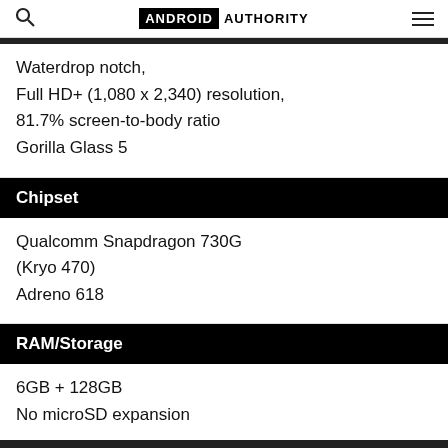ANDROID AUTHORITY
Waterdrop notch,
Full HD+ (1,080 x 2,340) resolution,
81.7% screen-to-body ratio
Gorilla Glass 5
Chipset
Qualcomm Snapdragon 730G
(Kryo 470)
Adreno 618
RAM/Storage
6GB + 128GB
No microSD expansion